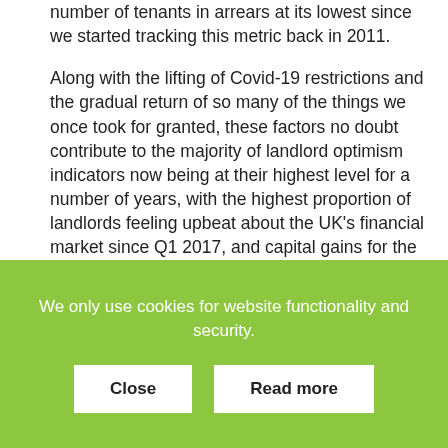number of tenants in arrears at its lowest since we started tracking this metric back in 2011.
Along with the lifting of Covid-19 restrictions and the gradual return of so many of the things we once took for granted, these factors no doubt contribute to the majority of landlord optimism indicators now being at their highest level for a number of years, with the highest proportion of landlords feeling upbeat about the UK's financial market since Q1 2017, and capital gains for the properties in their portfolios since the end of 2015.
Richard Rowntree
Managing Director – Mortgages
We only use cookies for website functionality and security.